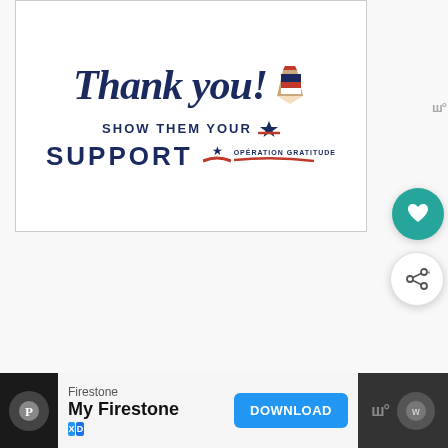[Figure (illustration): Advertisement banner with cursive 'Thank you!' text and a red-white-blue pencil illustration, below which reads 'SHOW THEM YOUR SUPPORT' with Operation Gratitude logo including a star and red swoosh.]
[Figure (illustration): Teal circle button with white heart icon (favorite/like button)]
[Figure (illustration): White circle button with share icon (share button)]
[Figure (screenshot): Bottom advertisement bar. Dark background on left with Pinterest circle icon. Center white area shows Firestone brand ad with text 'My Firestone' and a blue DOWNLOAD button. Right side shows dark bar with WW logo and brand circle.]